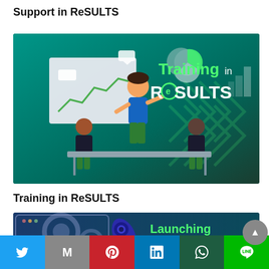Support in ReSULTS
[Figure (illustration): Training in ReSULTS promotional banner showing a presenter at a whiteboard with two seated attendees, teal/green background with chevron pattern and 'Training in ReSULTS' text]
Training in ReSULTS
[Figure (illustration): Launching with ReSULTS banner showing a rocket and gears on a blue background with 'Launching with' text visible, partially cropped]